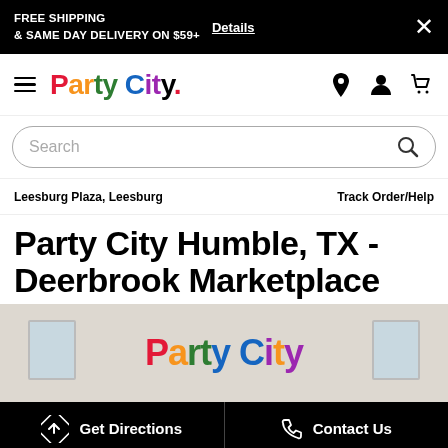FREE SHIPPING & SAME DAY DELIVERY ON $59+ Details ✕
[Figure (logo): Party City logo with hamburger menu and icons for location, account, and cart]
Search
Leesburg Plaza, Leesburg   Track Order/Help
Party City Humble, TX - Deerbrook Marketplace
[Figure (photo): Party City store exterior showing the colorful Party City logo sign on a beige wall with windows on both sides]
Get Directions   Contact Us